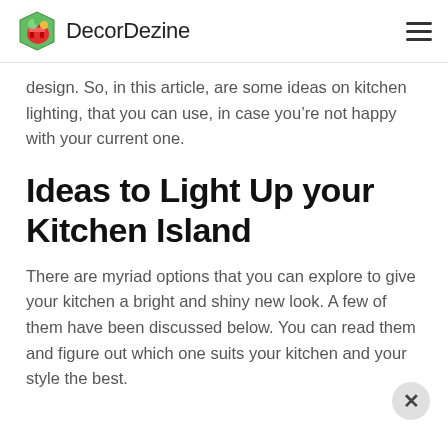DecorDezine
design. So, in this article, are some ideas on kitchen lighting, that you can use, in case you’re not happy with your current one.
Ideas to Light Up your Kitchen Island
There are myriad options that you can explore to give your kitchen a bright and shiny new look. A few of them have been discussed below. You can read them and figure out which one suits your kitchen and your style the best.